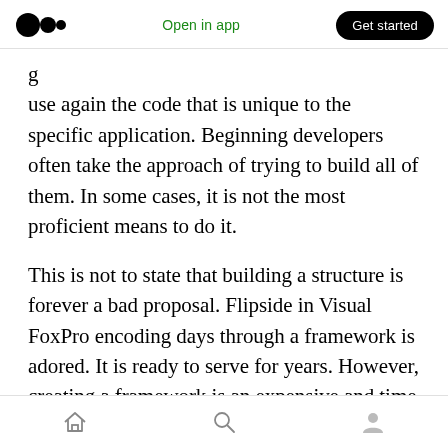Open in app | Get started
use again the code that is unique to the specific application. Beginning developers often take the approach of trying to build all of them. In some cases, it is not the most proficient means to do it.
This is not to state that building a structure is forever a bad proposal. Flipside in Visual FoxPro encoding days through a framework is adored. It is ready to serve for years. However, creating a framework is an expensive and time taken exercise. If a user discovers the best one for the development setting, that is surely the top bet.
Home | Search | Profile